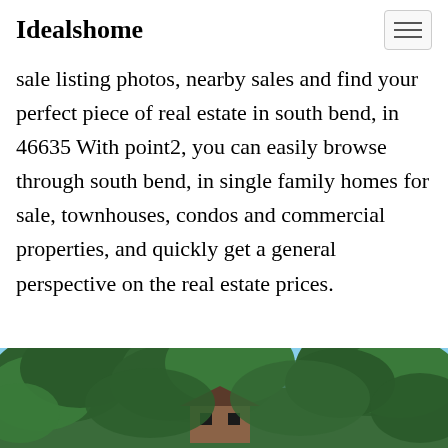Idealshome
sale listing photos, nearby sales and find your perfect piece of real estate in south bend, in 46635 With point2, you can easily browse through south bend, in single family homes for sale, townhouses, condos and commercial properties, and quickly get a general perspective on the real estate prices.
[Figure (photo): Photograph of a house partially obscured by green trees with a blue sky background, viewed from below the tree canopy.]